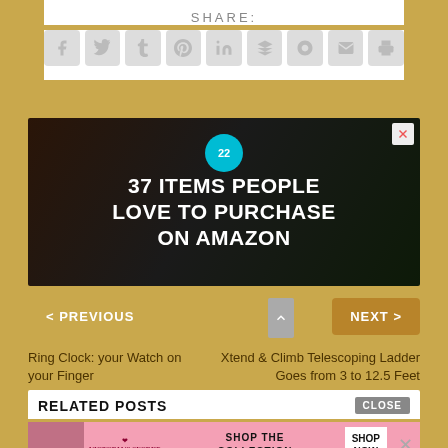SHARE:
[Figure (other): Social share icons: Facebook, Twitter, Tumblr, Pinterest, LinkedIn, Buffer, StumbleUpon, Email, Print]
[Figure (other): Advertisement banner: 37 ITEMS PEOPLE LOVE TO PURCHASE ON AMAZON with dark kitchen background and badge '22']
< PREVIOUS
NEXT >
Ring Clock: your Watch on your Finger
Xtend & Climb Telescoping Ladder Goes from 3 to 12.5 Feet
RELATED POSTS
CLOSE
[Figure (other): Victoria's Secret advertisement: SHOP THE COLLECTION - SHOP NOW button, pink background with model]